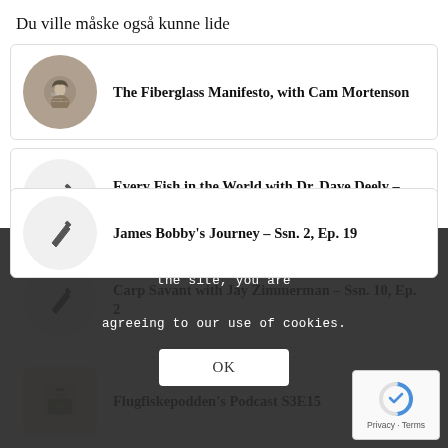Du ville måske også kunne lide
The Fiberglass Manifesto, with Cam Mortenson
Every Fish in the World with Dr. Dave Deely – Ssn. 9, Ep. 1
Carp Savant with Jay Zimmerman – Ssn. 10, Ep. 2
Flugfiskepodden's Podcast S3E15
James Bobby's Journey – Ssn. 2, Ep. 19
This site uses cookies. By continuing to browse the site, you are agreeing to our use of cookies.
OK